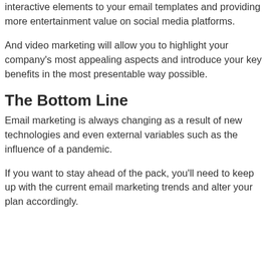interactive elements to your email templates and providing more entertainment value on social media platforms.
And video marketing will allow you to highlight your company's most appealing aspects and introduce your key benefits in the most presentable way possible.
The Bottom Line
Email marketing is always changing as a result of new technologies and even external variables such as the influence of a pandemic.
If you want to stay ahead of the pack, you'll need to keep up with the current email marketing trends and alter your plan accordingly.